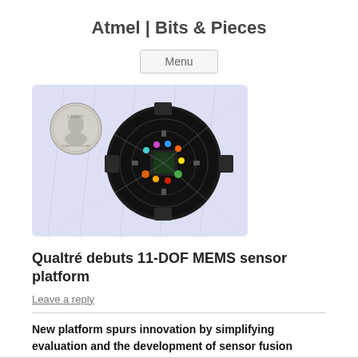Atmel | Bits & Pieces
Menu
[Figure (photo): A circular MEMS sensor circuit board photographed next to a coin for scale, on a light purple/blue patterned background. The board has visible electronic components including LEDs and chips.]
Qualtré debuts 11-DOF MEMS sensor platform
Leave a reply
New platform spurs innovation by simplifying evaluation and the development of sensor fusion algorithms.